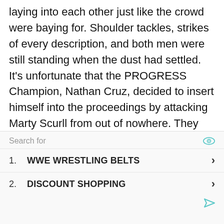laying into each other just like the crowd were baying for. Shoulder tackles, strikes of every description, and both men were still standing when the dust had settled. It's unfortunate that the PROGRESS Champion, Nathan Cruz, decided to insert himself into the proceedings by attacking Marty Scurll from out of nowhere. They battled all across the venue and eventually went to the back, leaving Stixx and Mastiff all alone.

A sick looking German suplex into the corner followed by his patented running cannonball gave Big Dave
[Figure (other): Sponsored search ad box with 'Search for' header, eye icon, two ad listings: 1. WWE WRESTLING BELTS, 2. DISCOUNT SHOPPING, each with a chevron arrow, and an ad attribution icon at bottom right.]